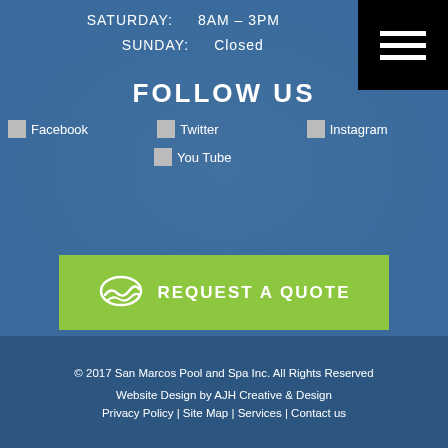SATURDAY:  8AM – 3PM
SUNDAY:  Closed
FOLLOW US
[Figure (other): Social media icons: Facebook, Twitter, Instagram, You Tube]
[Figure (other): Request a Quote button with pool/wave logo icon]
© 2017 San Marcos Pool and Spa Inc. All Rights Reserved
Website Design by AJH Creative & Design
Privacy Policy | Site Map | Services | Contact us